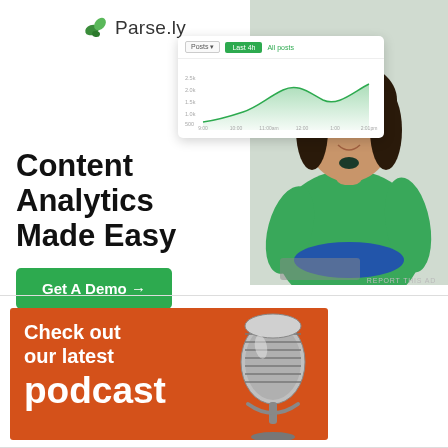[Figure (screenshot): Parse.ly logo with green leaf icon and brand name]
[Figure (screenshot): Parse.ly dashboard analytics screenshot showing line chart with green area chart and toolbar with date selector and green button]
[Figure (photo): Woman with dark hair smiling, wearing green top, standing near laptop]
Content Analytics Made Easy
[Figure (infographic): Green button reading 'Get A Demo →']
REPORT THIS AD
[Figure (infographic): Orange podcast banner with text 'Check out our latest podcast' and silver vintage microphone illustration]